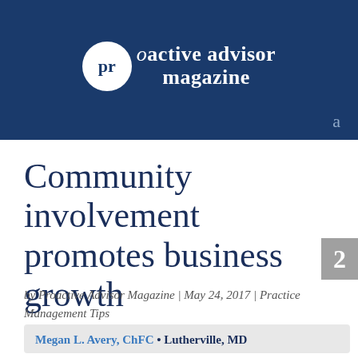proactive advisor magazine
Community involvement promotes business growth
by Proactive Advisor Magazine | May 24, 2017 | Practice Management Tips
Megan L. Avery, ChFC • Lutherville, MD